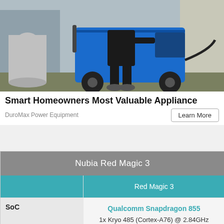[Figure (photo): Photo of a person connecting a blue DuroMax portable generator outside a house]
Smart Homeowners Most Valuable Appliance
DuroMax Power Equipment
Learn More
|  | Red Magic 3 |
| --- | --- |
| SoC | Qualcomm Snapdragon 855
1x Kryo 485 (Cortex-A76) @ 2.84GHz
3x Kryo 485 (Cortex-A76) @ 2.42GHz
4x Kryo 485 (Cortex-A55) @ 1.80GHz |